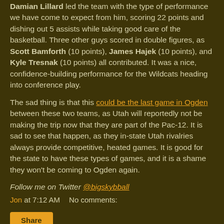Damian Lillard led the team with the type of performance we have come to expect from him, scoring 22 points and dishing out 5 assists while taking good care of the basketball. Three other guys scored in double figures, as Scott Bamforth (10 points), James Hajek (10 points), and Kyle Tresnak (10 points) all contributed. It was a nice, confidence-building performance for the Wildcats heading into conference play.
The sad thing is that this could be the last game in Ogden between these two teams, as Utah will reportedly not be making the trip now that they are part of the Pac-12. It is sad to see that happen, as they in-state Utah rivalries always provide competitive, heated games. It is good for the state to have these types of games, and it is a shame they won't be coming to Ogden again.
Follow me on Twitter @bigskybball
Jon at 7:12 AM    No comments:
Share